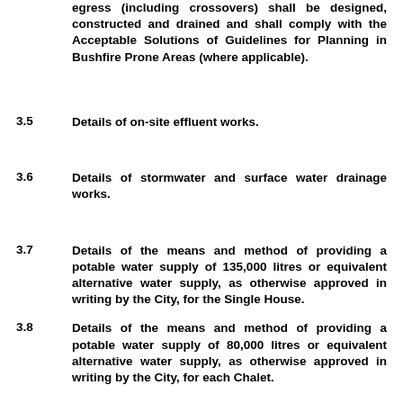egress (including crossovers) shall be designed, constructed and drained and shall comply with the Acceptable Solutions of Guidelines for Planning in Bushfire Prone Areas (where applicable).
3.5   Details of on-site effluent works.
3.6   Details of stormwater and surface water drainage works.
3.7   Details of the means and method of providing a potable water supply of 135,000 litres or equivalent alternative water supply, as otherwise approved in writing by the City, for the Single House.
3.8   Details of the means and method of providing a potable water supply of 80,000 litres or equivalent alternative water supply, as otherwise approved in writing by the City, for each Chalet.